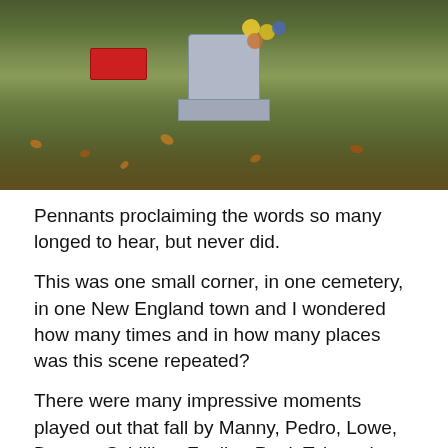[Figure (photo): A grave marker with yellow, blue, and orange flowers and scattered autumn leaves on green grass in a cemetery.]
Pennants proclaiming the words so many longed to hear, but never did.
This was one small corner, in one cemetery, in one New England town and I wondered how many times and in how many places was this scene repeated?
There were many impressive moments played out that fall by Manny, Pedro, Lowe, Damon, Schilling, Foulke, Papi, Tek et al. Moments played out at Fenway Park, Yankee Stadium and in St. Louis where it all culminated. However, the want, the desire, in fact the need for Red Sox fans to reach out, to reach back, to share this glorious...